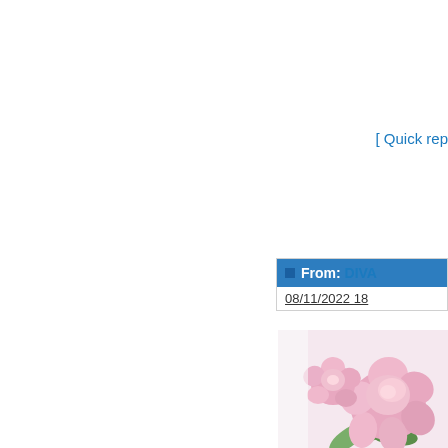[ Quick rep
From: DIVA
08/11/2022 18
[Figure (photo): Pink roses and flower arrangement on white/light background, partially visible in bottom-right corner]